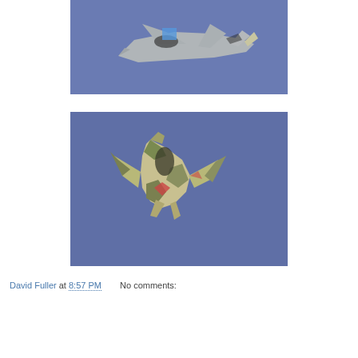[Figure (photo): Top-down view of an F-35 model aircraft on a blue cloth surface, gray/silver paint scheme]
[Figure (photo): Top-down view of an F-14 or similar model aircraft on a blue cloth surface, camouflage paint scheme with tan/green colors]
David Fuller at 8:57 PM    No comments:
Share